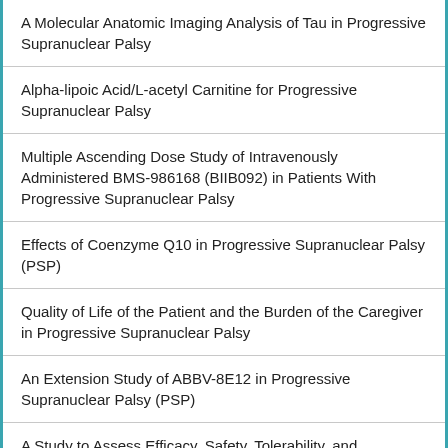A Molecular Anatomic Imaging Analysis of Tau in Progressive Supranuclear Palsy
Alpha-lipoic Acid/L-acetyl Carnitine for Progressive Supranuclear Palsy
Multiple Ascending Dose Study of Intravenously Administered BMS-986168 (BIIB092) in Patients With Progressive Supranuclear Palsy
Effects of Coenzyme Q10 in Progressive Supranuclear Palsy (PSP)
Quality of Life of the Patient and the Burden of the Caregiver in Progressive Supranuclear Palsy
An Extension Study of ABBV-8E12 in Progressive Supranuclear Palsy (PSP)
A Study to Assess Efficacy, Safety, Tolerability, and Pharmacokinetics of ABBV-8E12 in Subjects With Progressive Supranuclear Palsy (PSP).